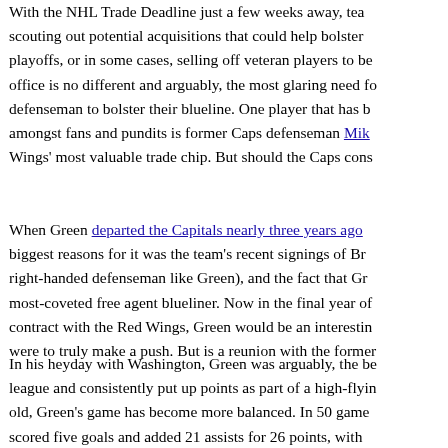With the NHL Trade Deadline just a few weeks away, teams are scouting out potential acquisitions that could help bolster their playoffs, or in some cases, selling off veteran players to be... office is no different and arguably, the most glaring need fo... defenseman to bolster their blueline. One player that has b... amongst fans and pundits is former Caps defenseman Mik... Wings' most valuable trade chip. But should the Caps cons...
When Green departed the Capitals nearly three years ago, biggest reasons for it was the team's recent signings of Br... right-handed defenseman like Green), and the fact that Gr... most-coveted free agent blueliner. Now in the final year of... contract with the Red Wings, Green would be an interestin... were to truly make a push. But is a reunion with the former...
In his heyday with Washington, Green was arguably, the be... league and consistently put up points as part of a high-flyin... old, Green's game has become more balanced. In 50 game... scored five goals and added 21 assists for 26 points, with...